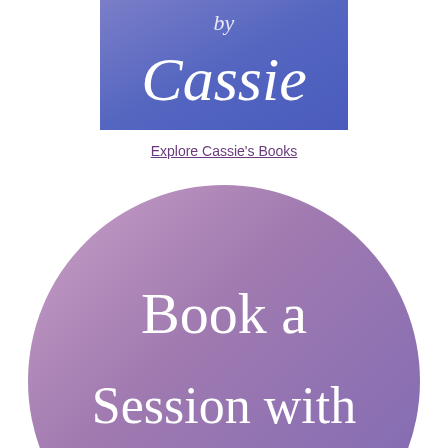[Figure (illustration): Rectangular banner with blue-purple gradient background and white decorative text reading 'Cassie' (partial text visible at top)]
Explore Cassie's Books
[Figure (illustration): Large circle with mauve/purple gradient background and white decorative serif text reading 'Book a Session with Cassie' (partially cropped at bottom)]